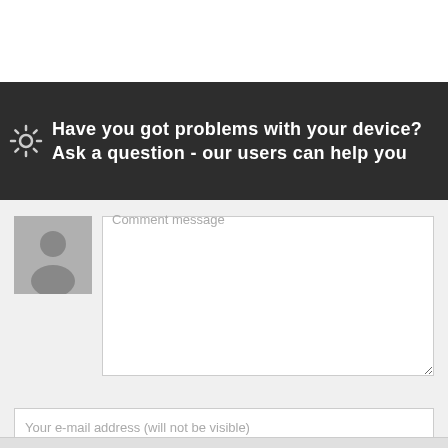Have you got problems with your device? Ask a question - our users can help you
[Figure (other): User avatar placeholder silhouette icon in gray]
Comment message
Your e-mail address (will not be visible)
Your signature
Add comment
Reset